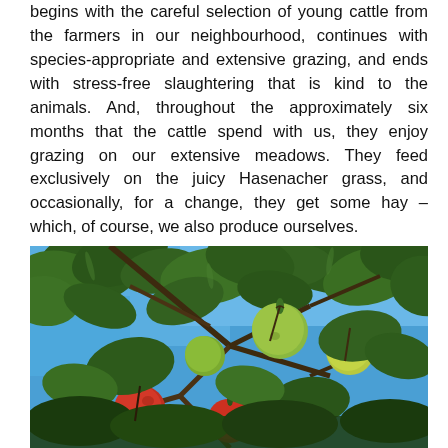begins with the careful selection of young cattle from the farmers in our neighbourhood, continues with species-appropriate and extensive grazing, and ends with stress-free slaughtering that is kind to the animals. And, throughout the approximately six months that the cattle spend with us, they enjoy grazing on our extensive meadows. They feed exclusively on the juicy Hasenacher grass, and occasionally, for a change, they get some hay – which, of course, we also produce ourselves.
[Figure (photo): Photograph taken looking up through an apple tree with green leaves against a bright blue sky, showing several apples in various stages of ripeness — green, yellowish-green, and red.]